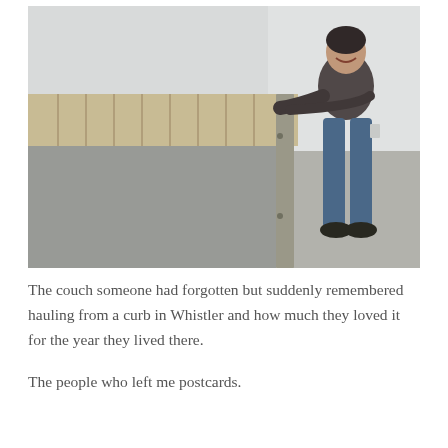[Figure (photo): A person leaning over and pushing/tipping up a large couch/sofa on its side in an empty room with white walls and concrete floor. The couch fabric is beige/cream with stripes and has a grey backing visible.]
The couch someone had forgotten but suddenly remembered hauling from a curb in Whistler and how much they loved it for the year they lived there.
The people who left me postcards.